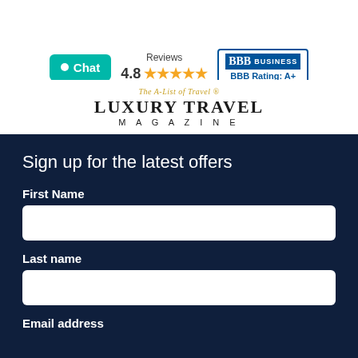[Figure (logo): Chat button (teal), Reviews 4.8 with 5 stars, and BBB Accredited Business A+ rating badge]
[Figure (logo): Luxury Travel Magazine logo with tagline 'The A-List of Travel']
Sign up for the latest offers
First Name
Last name
Email address